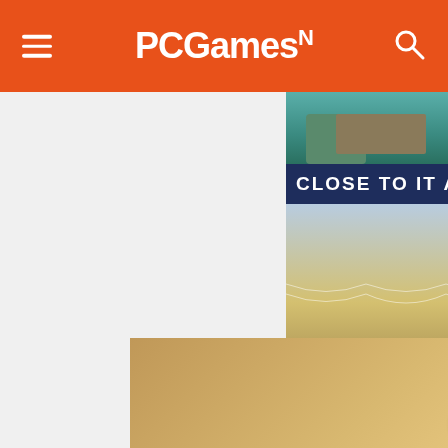PCGamesN
[Figure (photo): Advertisement for apartment complex showing rooftop terrace with string lights, outdoor grills, and cityscape. Text reads CLOSE TO IT ALL and & JUST MINUTES FROM EISENHOWER A...]
[Figure (screenshot): MW (Multiversus/MulTWorker) video overlay showing EMBRACER GROUP BUY LOTR RIGHTS with play button on dark background]
The GeForce GTX 950 is NVIDI... and it's available now. It's every... ...the thrilling world of MOBAs with...
[Figure (photo): Bottom banner advertisement with person icons and text Hold and Move]